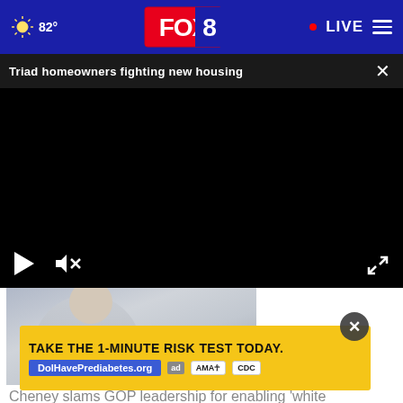FOX 8 | 82° | LIVE
Triad homeowners fighting new housing
[Figure (screenshot): Black video player with play and mute controls visible at the bottom left and fullscreen icon at bottom right]
[Figure (photo): Partial view of a woman with blonde hair wearing a light blue top]
[Figure (infographic): Advertisement banner: TAKE THE 1-MINUTE RISK TEST TODAY. DolHavePrediabetes.org with AMA and CDC badges]
Cheney slams GOP leadership for enabling 'white